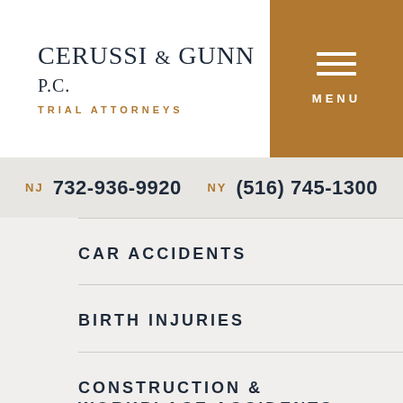CERUSSI & GUNN P.C. TRIAL ATTORNEYS
NJ 732-936-9920   NY (516) 745-1300
CAR ACCIDENTS
BIRTH INJURIES
CONSTRUCTION & WORKPLACE ACCIDENTS
DOG BITES